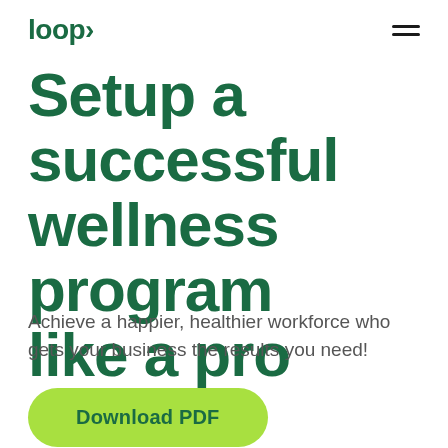loop
Setup a successful wellness program like a pro
Achieve a happier, healthier workforce who gets your business the results you need!
Download PDF